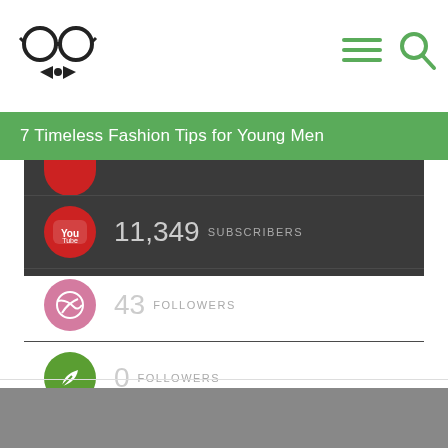[Figure (logo): Glasses and bow tie logo icon]
[Figure (illustration): Hamburger menu icon and search icon in top right]
7 Timeless Fashion Tips for Young Men
11,349 SUBSCRIBERS (YouTube)
43 FOLLOWERS (Dribbble)
0 FOLLOWERS (Leaf/green social)
142k MEMBERS (VK)